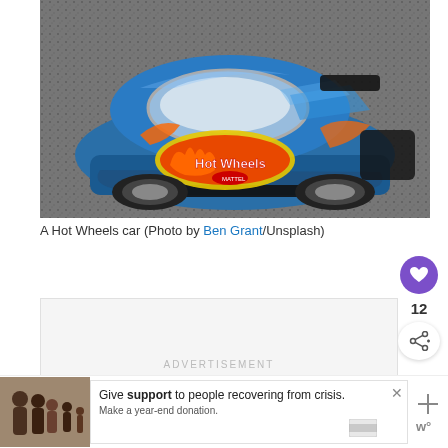[Figure (photo): Close-up photograph of a blue Hot Wheels toy racing car on a grey asphalt surface, showing the Hot Wheels logo prominently on the front.]
A Hot Wheels car (Photo by Ben Grant/Unsplash)
[Figure (infographic): ADVERTISEMENT placeholder box]
[Figure (infographic): What's Next panel with thumbnail and text: New Fox reality TV:....]
[Figure (infographic): Bottom advertisement banner: Give support to people recovering from crisis. Make a year-end donation.]